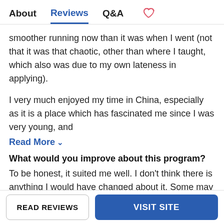About   Reviews   Q&A   ♡
smoother running now than it was when I went (not that it was that chaotic, other than where I taught, which also was due to my own lateness in applying).
I very much enjoyed my time in China, especially as it is a place which has fascinated me since I was very young, and
Read More ˅
What would you improve about this program?
To be honest, it suited me well. I don't think there is anything I would have changed about it. Some may be put off by the safety rating, but that's more of a feature of the country itself, rather than the actual programme. The way
READ REVIEWS   VISIT SITE